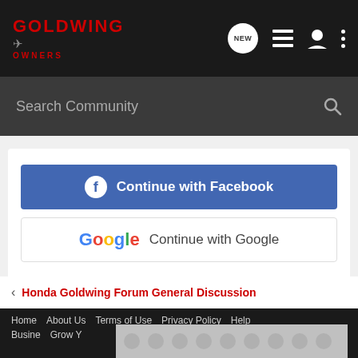GOLDWING OWNERS — Navigation bar with NEW, list, user, and menu icons
Search Community
Continue with Facebook
Continue with Google
or sign up with email
< Honda Goldwing Forum General Discussion
Home  About Us  Terms of Use  Privacy Policy  Help  Business  Grow Y...